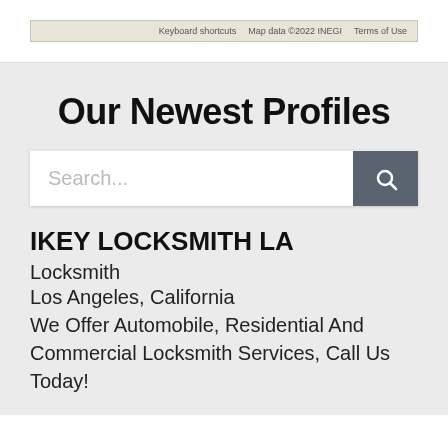[Figure (screenshot): Bottom edge of a Google Maps embed showing map attribution bar with 'Keyboard shortcuts', 'Map data ©2022 INEGI', and 'Terms of Use' links]
Our Newest Profiles
[Figure (screenshot): Search bar with placeholder text 'Search...' and a dark gray search button with magnifying glass icon]
IKEY LOCKSMITH LA
Locksmith
Los Angeles, California
We Offer Automobile, Residential And Commercial Locksmith Services, Call Us Today!